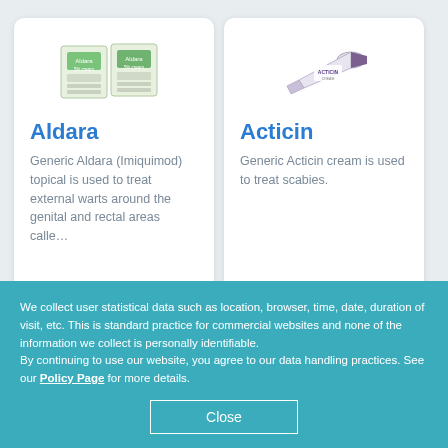[Figure (photo): Product image of Aldara cream packets]
Aldara
Generic Aldara (Imiquimod) topical is used to treat external warts around the genital and rectal areas calle…
$ 9.33
[Figure (photo): Product image of Acticin cream tube]
Acticin
Generic Acticin cream is used to treat scabies.
$ 13.16
We collect user statistical data such as location, browser, time, date, duration of visit, etc. This is standard practice for commercial websites and none of the information we collect is personally identifiable.
By continuing to use our website, you agree to our data handling practices. See our Policy Page for more details.
Close